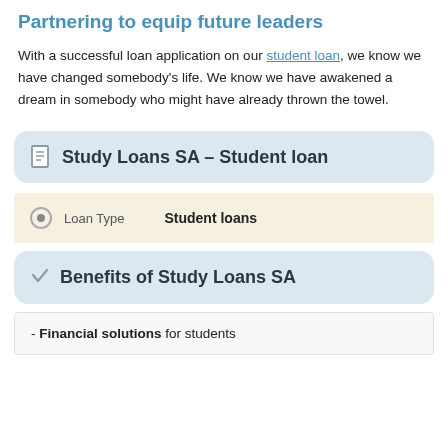Partnering to equip future leaders
With a successful loan application on our student loan, we know we have changed somebody's life. We know we have awakened a dream in somebody who might have already thrown the towel.
Study Loans SA – Student loan
| Loan Type | Value |
| --- | --- |
| Loan Type | Student loans |
Benefits of Study Loans SA
- Financial solutions for students